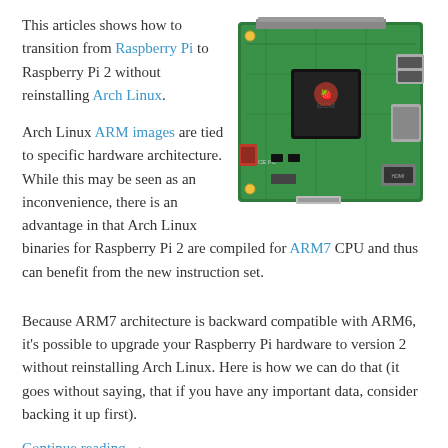This articles shows how to transition from Raspberry Pi to Raspberry Pi 2 without reinstalling Arch Linux.
[Figure (photo): Photo of a Raspberry Pi 2 circuit board (green PCB with processor, ports, USB connectors)]
Arch Linux ARM images are tied to specific hardware architecture. While this may be seen as an inconvenience, there is an advantage in that Arch Linux binaries for Raspberry Pi 2 are compiled for ARM7 CPU and thus can benefit from the new instruction set.
Because ARM7 architecture is backward compatible with ARM6, it's possible to upgrade your Raspberry Pi hardware to version 2 without reinstalling Arch Linux. Here is how we can do that (it goes without saying, that if you have any important data, consider backing it up first).
Continue reading →
May 23, 2015
Access your Raspberry Pi from anywhere